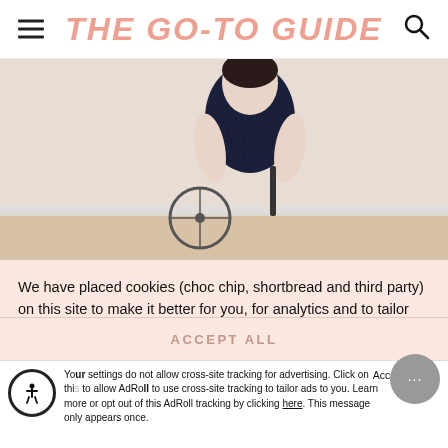THE GO-TO GUIDE
[Figure (photo): A person wearing a dark navy draped sleeveless dress, seated in a wheelchair, photographed against a light wall with wooden floor visible.]
We have placed cookies (choc chip, shortbread and third party) on this site to make it better for you, for analytics and to tailor our ads and offers to your interests, as described in our cookie policy. Click 'Accept' to agree or 'Preferences' to review and customise your cookie settings. Learn More
PREFERENCES
ACCEPT ALL
Your settings do not allow cross-site tracking for advertising. Click on this to allow AdRoll to use cross-site tracking to tailor ads to you. Learn more or opt out of this AdRoll tracking by clicking here. This message only appears once.